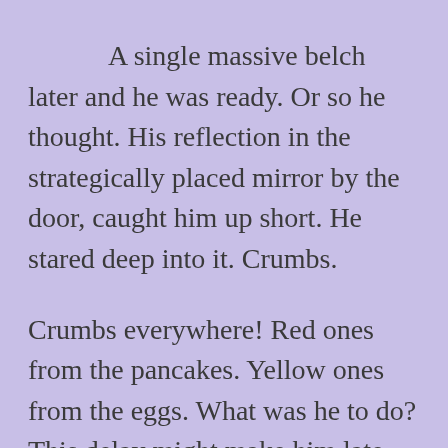A single massive belch later and he was ready. Or so he thought. His reflection in the strategically placed mirror by the door, caught him up short. He stared deep into it. Crumbs.

Crumbs everywhere! Red ones from the pancakes. Yellow ones from the eggs. What was he to do? This delay might make him late for work.

He remembered from his childhood home, Schultz's mother would keep  a small brush by the door for just such an